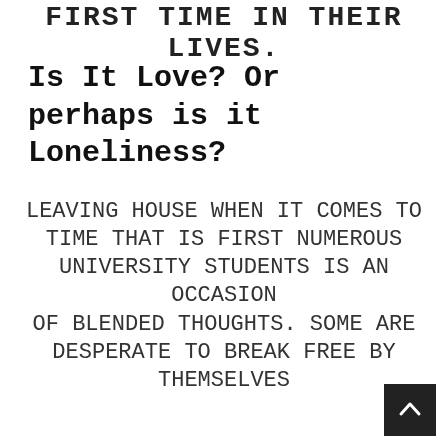FIRST TIME IN THEIR LIVES.
Is It Love? Or perhaps is it Loneliness?
Leaving house when it comes to time that is first numerous university students is an occasion of blended thoughts. Some are desperate to break free by themselves